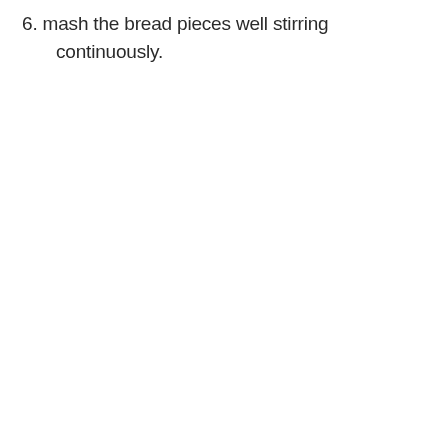6. mash the bread pieces well stirring continuously.